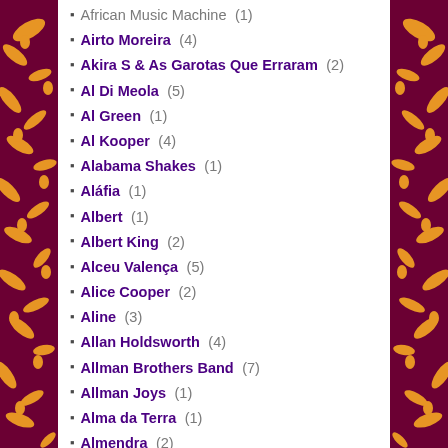African Music Machine (1)
Airto Moreira (4)
Akira S & As Garotas Que Erraram (2)
Al Di Meola (5)
Al Green (1)
Al Kooper (4)
Alabama Shakes (1)
Aláfia (1)
Albert (1)
Albert King (2)
Alceu Valença (5)
Alice Cooper (2)
Aline (3)
Allan Holdsworth (4)
Allman Brothers Band (7)
Allman Joys (1)
Alma da Terra (1)
Almendra (2)
Alphonso Johnson (2)
Alquimia (1)
Alvin Lee (3)
Alzira Espindola (1)